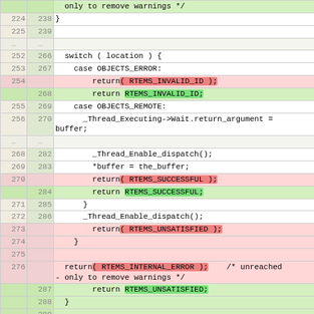[Figure (screenshot): Code diff showing changes to a C source file. Left column is old line numbers, right column is new line numbers, right side shows code with red (deleted) and green (added) highlighted lines.]